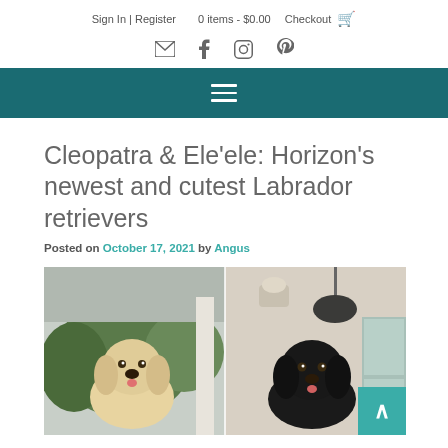Sign In | Register   0 items - $0.00   Checkout
[Figure (other): Social media icons: email, Facebook, Instagram, Pinterest]
[Figure (other): Teal navigation bar with hamburger menu icon]
Cleopatra & Ele'ele: Horizon's newest and cutest Labrador retrievers
Posted on October 17, 2021 by Angus
[Figure (photo): Two Labrador retriever puppies side by side — a yellow lab on the left and a black lab on the right, photographed outdoors and indoors respectively]